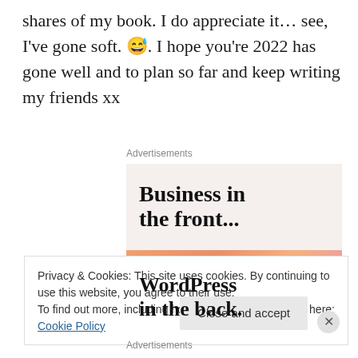shares of my book. I do appreciate it… see, I've gone soft. 😅. I hope you're 2022 has gone well and to plan so far and keep writing my friends xx
Advertisements
[Figure (illustration): Advertisement image with two sections: top section shows 'Business in the front...' text on light beige background; bottom section shows 'WordPress in the back.' text on orange/pink gradient background with decorative circular shapes]
Privacy & Cookies: This site uses cookies. By continuing to use this website, you agree to their use.
To find out more, including how to control cookies, see here: Cookie Policy
Advertisements